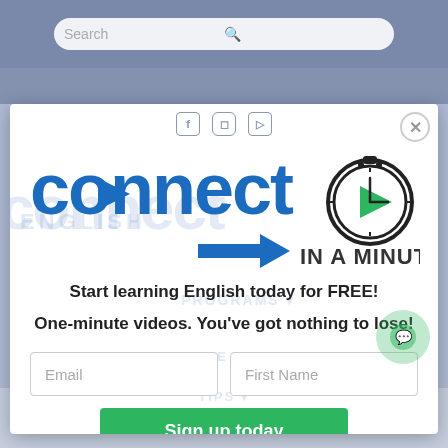[Figure (screenshot): Screenshot of a website with a modal popup. The modal shows the 'Connect in a Minute' English learning platform logo, promotional text 'Start learning English today for FREE!' and 'One-minute videos. You've got nothing to lose!', email and first name input fields, and a green 'Sign up today' button. The background shows a website navigation with a search bar and social media icons. At the bottom is a CONTACT navigation link.]
Start learning English today for FREE!
One-minute videos. You've got nothing to lose!
Sign up today
CONTACT